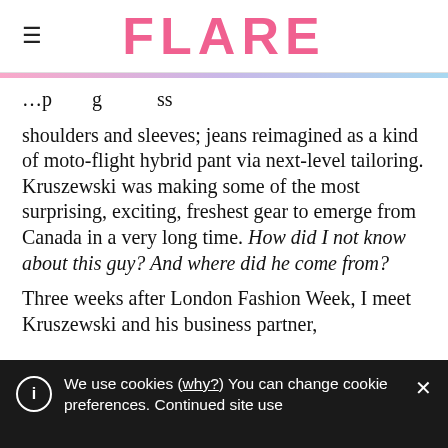FLARE
shoulders and sleeves; jeans reimagined as a kind of moto-flight hybrid pant via next-level tailoring. Kruszewski was making some of the most surprising, exciting, freshest gear to emerge from Canada in a very long time. How did I not know about this guy? And where did he come from?
Three weeks after London Fashion Week, I meet Kruszewski and his business partner,
We use cookies (why?) You can change cookie preferences. Continued site use